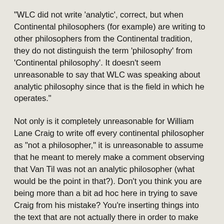“WLC did not write ‘analytic’, correct, but when Continental philosophers (for example) are writing to other philosophers from the Continental tradition, they do not distinguish the term ‘philosophy’ from ‘Continental philosophy’. It doesn’t seem unreasonable to say that WLC was speaking about analytic philosophy since that is the field in which he operates.”
Not only is it completely unreasonable for William Lane Craig to write off every continental philosopher as “not a philosopher,” it is unreasonable to assume that he meant to merely make a comment observing that Van Til was not an analytic philosopher (what would be the point in that?). Don’t you think you are being more than a bit ad hoc here in trying to save Craig from his mistake? You’re inserting things into the text that are not actually there in order to make what he actually wrote sound better, and it’s not working. I wouldn’t doubt that if we skimmed Dr. Craig’s writings we could find that he relies upon philosophy from those of the continental tradition, so from the The